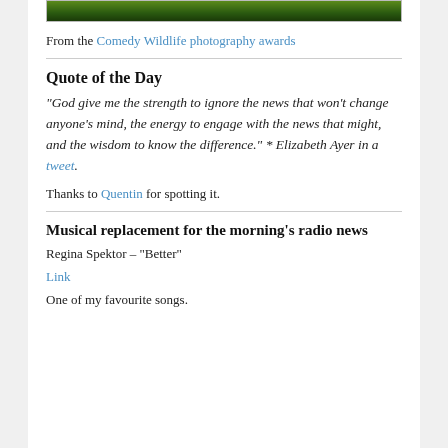[Figure (photo): Top portion of a wildlife photo showing green foliage/dark background, partially cropped]
From the Comedy Wildlife photography awards
Quote of the Day
“God give me the strength to ignore the news that won’t change anyone’s mind, the energy to engage with the news that might, and the wisdom to know the difference.” * Elizabeth Ayer in a tweet.
Thanks to Quentin for spotting it.
Musical replacement for the morning's radio news
Regina Spektor – “Better”
Link
One of my favourite songs.